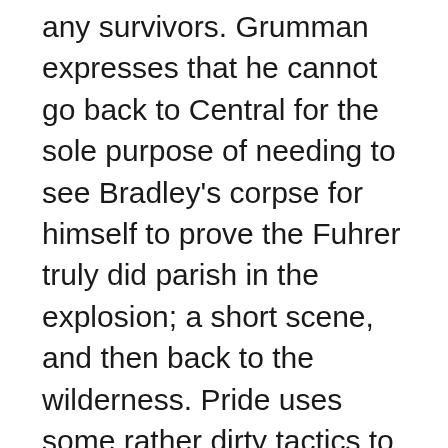any survivors. Grumman expresses that he cannot go back to Central for the sole purpose of needing to see Bradley's corpse for himself to prove the Fuhrer truly did parish in the explosion; a short scene, and then back to the wilderness. Pride uses some rather dirty tactics to get what he wants: threatening to take the village, but Ed does not play into the Homunculus. He knows Pride's weakness – an advantage that will buy them some time. Before Pride can do anything else, Ed quickly douses out the lights in the surrounding area; thereby dousing the woods in complete darkness. By doing this, there is no light for Pride to cast his shadow, but it makes it difficult for everyone else to see as well.